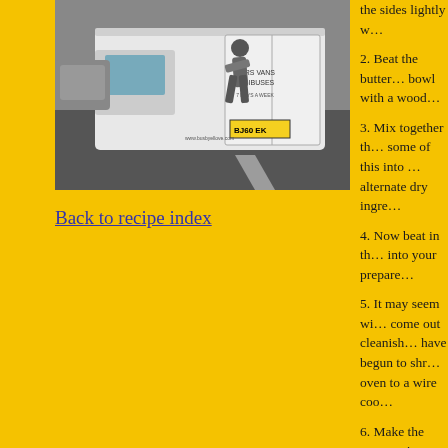[Figure (photo): A person climbing onto the back of a white van with license plate BJ60 EK, marked 'CARS VANS MINIBUSES', parked on a street.]
Back to recipe index
the sides lightly w...
2. Beat the butter... bowl with a wood...
3. Mix together th... some of this into ... alternate dry ingre...
4. Now beat in th... into your prepare...
5. It may seem wi... come out cleanish... have begun to shr... oven to a wire coo...
6. Make the syrup... in a small saucepa... you’re done. Pric... skewer would be ... cake, and leave to...